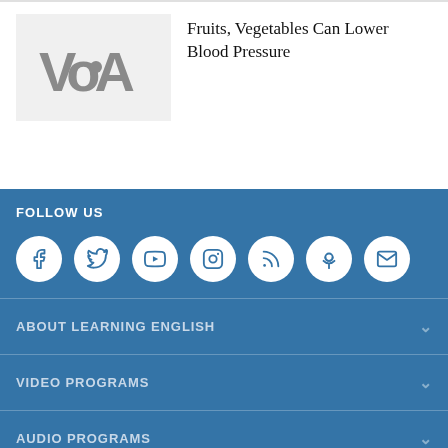[Figure (logo): VOA (Voice of America) logo in gray on a light gray background]
Fruits, Vegetables Can Lower Blood Pressure
FOLLOW US
[Figure (infographic): Social media icons in white circles: Facebook, Twitter, YouTube, Instagram, RSS, Podcast, Email]
ABOUT LEARNING ENGLISH
VIDEO PROGRAMS
AUDIO PROGRAMS